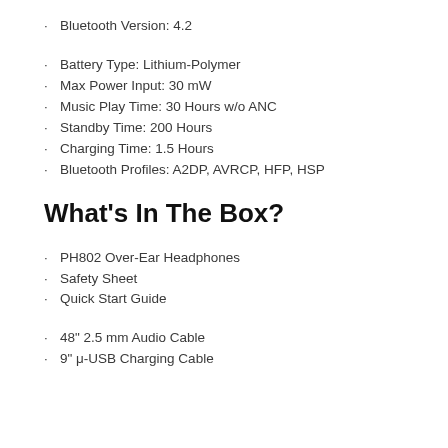Bluetooth Version: 4.2
Battery Type: Lithium-Polymer
Max Power Input: 30 mW
Music Play Time: 30 Hours w/o ANC
Standby Time: 200 Hours
Charging Time: 1.5 Hours
Bluetooth Profiles: A2DP, AVRCP, HFP, HSP
What's In The Box?
PH802 Over-Ear Headphones
Safety Sheet
Quick Start Guide
48" 2.5 mm Audio Cable
9" μ-USB Charging Cable